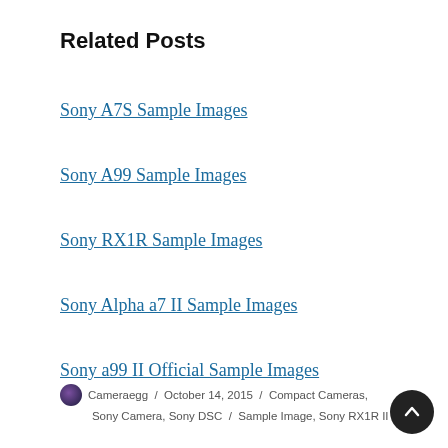Related Posts
Sony A7S Sample Images
Sony A99 Sample Images
Sony RX1R Sample Images
Sony Alpha a7 II Sample Images
Sony a99 II Official Sample Images
Cameraegg / October 14, 2015 / Compact Cameras, Sony Camera, Sony DSC / Sample Image, Sony RX1R II